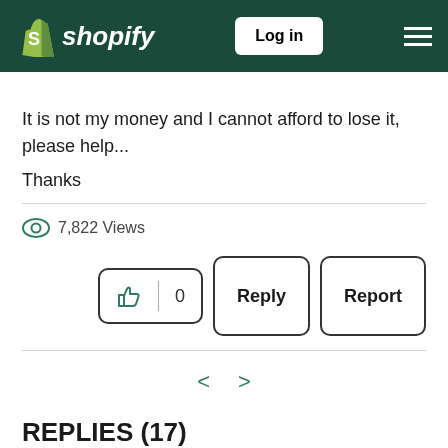shopify — Log in
It is not my money and I cannot afford to lose it, please help...
Thanks
7,822 Views
0  Reply  Report
< >
REPLIES (17)